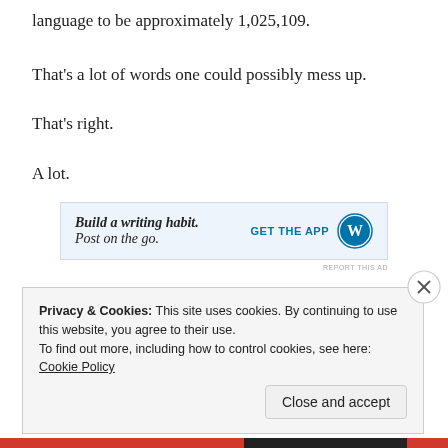language to be approximately 1,025,109.
That's a lot of words one could possibly mess up.
That's right.
A lot.
[Figure (other): Advertisement banner: 'Build a writing habit. Post on the go.' with GET THE APP button and WordPress logo]
Privacy & Cookies: This site uses cookies. By continuing to use this website, you agree to their use.
To find out more, including how to control cookies, see here: Cookie Policy